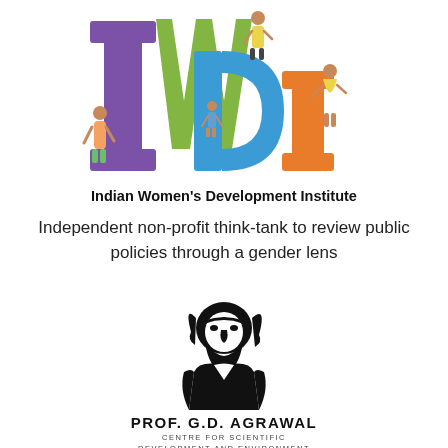[Figure (logo): IWDI logo with colorful block letters I, W, D, I and illustrated women/girls figures around them]
Indian Women’s Development Institute
Independent non-profit think-tank to review public policies through a gender lens
[Figure (logo): Prof. G.D. Agrawal Centre for Scientific Development and Environment logo — black and white portrait illustration of a bearded man]
PROF. G.D. AGRAWAL
CENTRE FOR SCIENTIFIC
DEVELOPMENT AND ENVIRONMENT